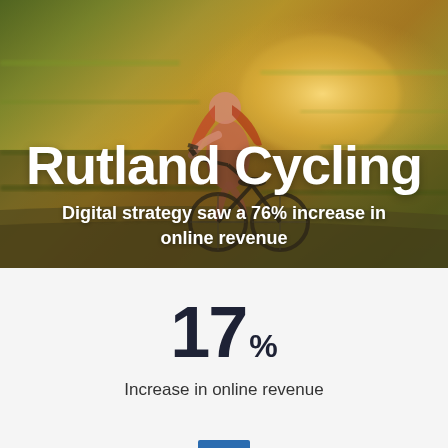[Figure (photo): Woman riding a bicycle on a blurred outdoor background with warm golden-green tones, used as hero banner image for Rutland Cycling]
Rutland Cycling
Digital strategy saw a 76% increase in online revenue
17%
Increase in online revenue